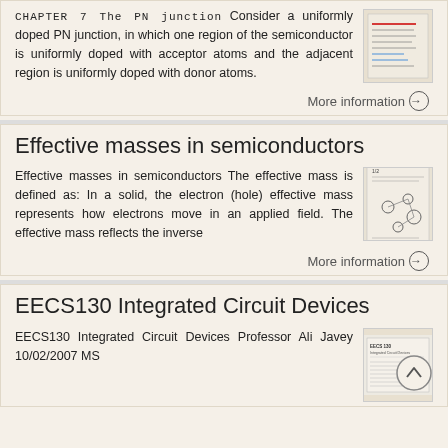CHAPTER 7 The PN junction Consider a uniformly doped PN junction, in which one region of the semiconductor is uniformly doped with acceptor atoms and the adjacent region is uniformly doped with donor atoms.
[Figure (screenshot): Thumbnail image of a textbook page about PN junction]
More information →
Effective masses in semiconductors
Effective masses in semiconductors The effective mass is defined as: In a solid, the electron (hole) effective mass represents how electrons move in an applied field. The effective mass reflects the inverse
[Figure (screenshot): Thumbnail image of a document about effective masses in semiconductors with diagrams]
More information →
EECS130 Integrated Circuit Devices
EECS130 Integrated Circuit Devices Professor Ali Javey 10/02/2007 MS
[Figure (screenshot): Thumbnail of EECS130 Integrated Circuit Devices document]